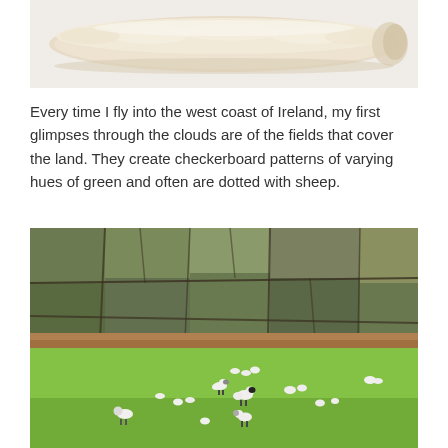[Figure (photo): A close-up photo of a white/cream textured object, possibly a rolled piece of dough or a fluffy textured material, on a light background.]
Every time I fly into the west coast of Ireland, my first glimpses through the clouds are of the fields that cover the land. They create checkerboard patterns of varying hues of green and often are dotted with sheep.
[Figure (photo): Aerial/ground-level photo of Irish countryside showing patchwork fields divided by stone walls in the upper half, and a bright green field with scattered white sheep grazing in the lower half.]